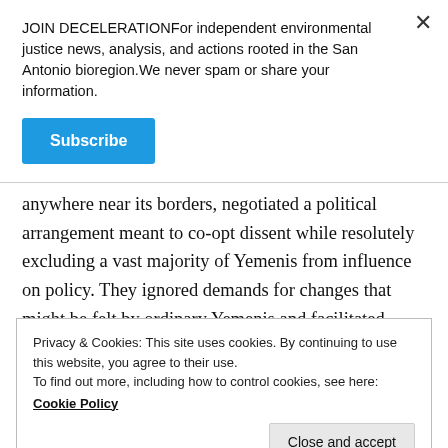JOIN DECELERATIONFor independent environmental justice news, analysis, and actions rooted in the San Antonio bioregion.We never spam or share your information.
Subscribe
anywhere near its borders, negotiated a political arrangement meant to co-opt dissent while resolutely excluding a vast majority of Yemenis from influence on policy. They ignored demands for changes that might be felt by ordinary Yemenis and facilitated instead a
Privacy & Cookies: This site uses cookies. By continuing to use this website, you agree to their use.
To find out more, including how to control cookies, see here:
Cookie Policy
Close and accept
the powerful elites. At a time when Yemenis